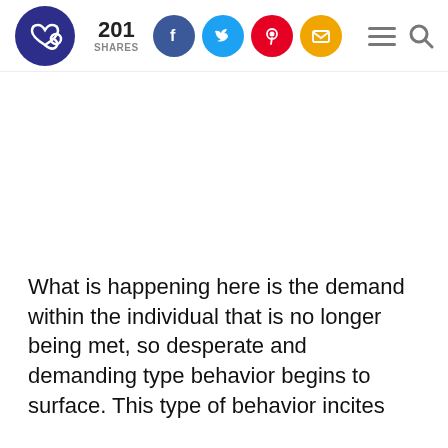201 SHARES [social share icons: Facebook, Twitter, Pinterest, Email] [menu and search icons]
[Figure (other): Blank white advertisement or image placeholder area]
What is happening here is the demand within the individual that is no longer being met, so desperate and demanding type behavior begins to surface. This type of behavior incites